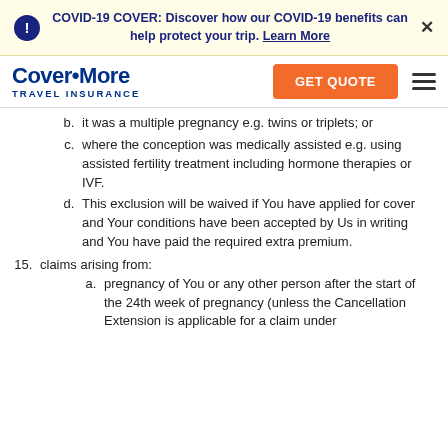COVID-19 COVER: Discover how our COVID-19 benefits can help protect your trip. Learn More
[Figure (logo): Cover-More Travel Insurance logo with GET QUOTE button and hamburger menu]
b. it was a multiple pregnancy e.g. twins or triplets; or
c. where the conception was medically assisted e.g. using assisted fertility treatment including hormone therapies or IVF.
d. This exclusion will be waived if You have applied for cover and Your conditions have been accepted by Us in writing and You have paid the required extra premium.
15. claims arising from:
a. pregnancy of You or any other person after the start of the 24th week of pregnancy (unless the Cancellation Extension is applicable for a claim under